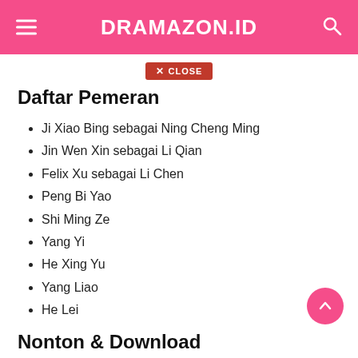DRAMAZON.ID
Daftar Pemeran
Ji Xiao Bing sebagai Ning Cheng Ming
Jin Wen Xin sebagai Li Qian
Felix Xu sebagai Li Chen
Peng Bi Yao
Shi Ming Ze
Yang Yi
He Xing Yu
Yang Liao
He Lei
Nonton & Download